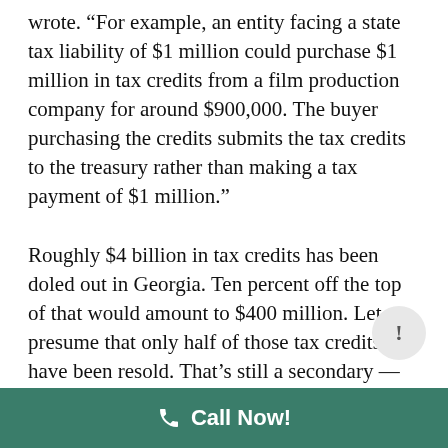wrote. “For example, an entity facing a state tax liability of $1 million could purchase $1 million in tax credits from a film production company for around $900,000. The buyer purchasing the credits submits the tax credits to the treasury rather than making a tax payment of $1 million.”
Roughly $4 billion in tax credits has been doled out in Georgia. Ten percent off the top of that would amount to $400 million. Let us presume that only half of those tax credits have been resold. That’s still a secondary — and clandestine — market worth hundreds of millions of dollars. Those invested in it will want to keep that spigot open.
Call Now!